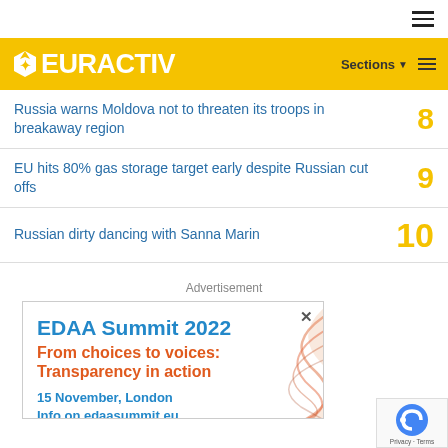EURACTIV
Russia warns Moldova not to threaten its troops in breakaway region
EU hits 80% gas storage target early despite Russian cut offs
Russian dirty dancing with Sanna Marin
Advertisement
[Figure (infographic): EDAA Summit 2022 advertisement: 'From choices to voices: Transparency in action', 15 November, London, Info on edaasummit.eu, with orange swirl graphic]